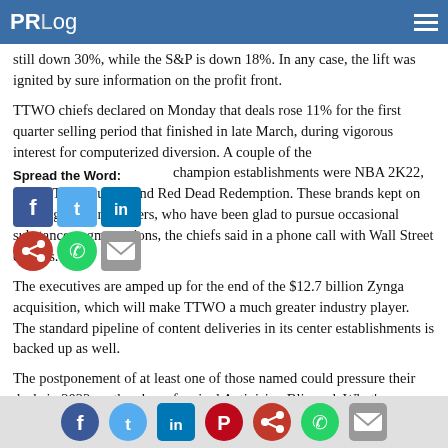PRLog
still down 30%, while the S&P is down 18%. In any case, the lift was ignited by sure information on the profit front.
TTWO chiefs declared on Monday that deals rose 11% for the first quarter selling period that finished in late March, during vigorous interest for computerized diversion. A couple of the champion establishments were NBA 2K22, Grand Theft Auto V and Red Dead Redemption. These brands kept on drawing in more gamers, who have been glad to pursue occasional substance augmentations, the chiefs said in a phone call with Wall Street experts.
Spread the Word:
[Figure (infographic): Social share icons: Facebook (blue), Twitter (light blue), LinkedIn (dark blue), Share (red circle), WhatsApp (green circle), Email (grey)]
The executives are amped up for the end of the $12.7 billion Zynga acquisition, which will make TTWO a much greater industry player. The standard pipeline of content deliveries in its center establishments is backed up as well.
The postponement of at least one of those named could pressure their deals in 2022, as they have for rival Activision Blizzard. What's more, the more extensive computerized media outlet is
Social share icons row: Facebook, Twitter, LinkedIn, Pinterest, Share, WhatsApp, Email